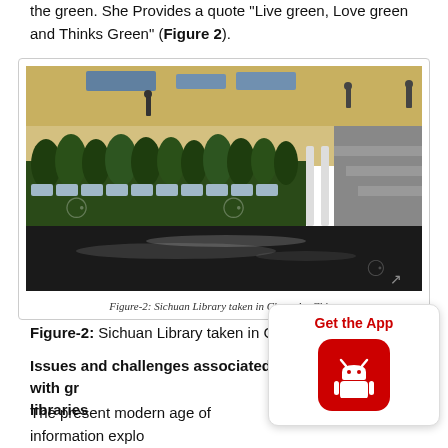the green. She Provides a quote “Live green, Love green and Thinks Green” (Figure 2).
[Figure (photo): Interior photo of Sichuan Library in Chengdu, China, showing a row of green potted plants along a shelf, with a reflective dark floor, stairs in the background, and watermarks overlaid on the image.]
Figure-2: Sichuan Library taken in Chengdu, China
Figure-2: Sichuan Library taken in Chengdu, China
Issues and challenges associated with gr... libraries
The present modern age of information explo... been expanded at a drastic level. The environmental factors and other factors are damaging the Arizona of